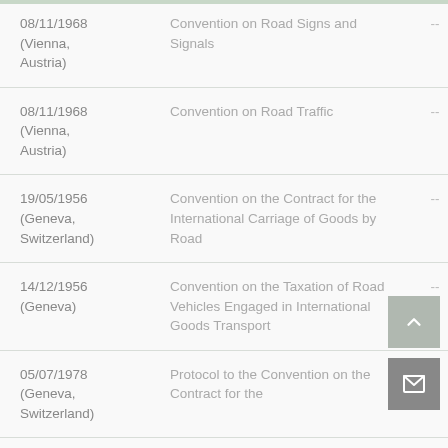| Date | Convention Name | -- | Number |
| --- | --- | --- | --- |
| 08/11/1968 (Vienna, Austria) | Convention on Road Signs and Signals | -- | 5 |
| 08/11/1968 (Vienna, Austria) | Convention on Road Traffic | -- | 5 |
| 19/05/1956 (Geneva, Switzerland) | Convention on the Contract for the International Carriage of Goods by Road | -- | 5 |
| 14/12/1956 (Geneva) | Convention on the Taxation of Road Vehicles Engaged in International Goods Transport | -- | 3 |
| 05/07/1978 (Geneva, Switzerland) | Protocol to the Convention on the Contract for the... | -- | 3 |